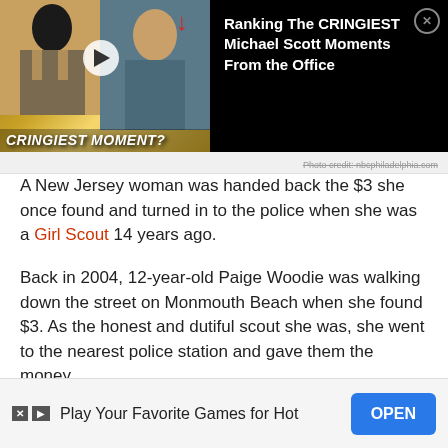[Figure (screenshot): Advertisement banner showing 'Ranking The CRINGIEST Michael Scott Moments From the Office' with a thumbnail image of two people and text 'CRINGIEST MOMENT?']
Photo credit: nbcphiladelphia.com
A New Jersey woman was handed back the $3 she once found and turned in to the police when she was a Girl Scout 14 years ago.
Back in 2004, 12-year-old Paige Woodie was walking down the street on Monmouth Beach when she found $3. As the honest and dutiful scout she was, she went to the nearest police station and gave them the money.
Unsurprisingly, nobody ever came forward to claim the $3, so it's been sitting in the evidence room of the Monmouth Beach [police department for years] decide[d to return it]
[Figure (screenshot): Bottom advertisement: 'Play Your Favorite Games for Hot' with an OPEN button]